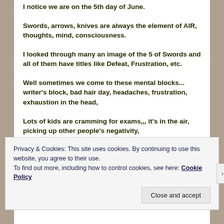I notice we are on the 5th day of June.
Swords, arrows, knives are always the element of AIR, thoughts, mind, consciousness.
I looked through many an image of the 5 of Swords and all of them have titles like Defeat, Frustration, etc.
Well sometimes we come to these mental blocks... writer's block, bad hair day, headaches, frustration, exhaustion in the head,
Lots of kids are cramming for exams,,, it's in the air, picking up other people's negativity,
Privacy & Cookies: This site uses cookies. By continuing to use this website, you agree to their use.
To find out more, including how to control cookies, see here: Cookie Policy
Close and accept